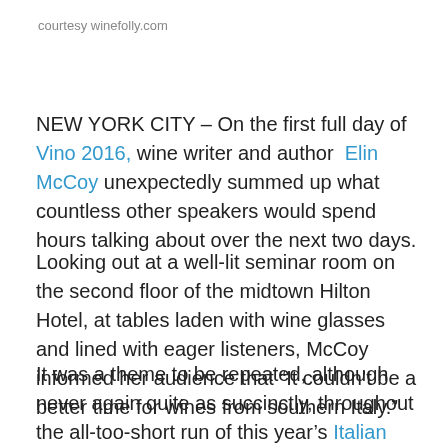courtesy winefolly.com
NEW YORK CITY – On the first full day of Vino 2016, wine writer and author Elin McCoy unexpectedly summed up what countless other speakers would spend hours talking about over the next two days.
Looking out at a well-lit seminar room on the second floor of the midtown Hilton Hotel, at tables laden with wine glasses and lined with eager listeners, McCoy informed her audience that “It couldn’t be a better time for wines from southern Italy.”
It was a theme to be repeated, although never again quite as succinctly, throughout the all-too-short run of this year’s Italian Wine Week presented by the Italian Trade Commission. Subtitled “The Grandest Italian Wine Event